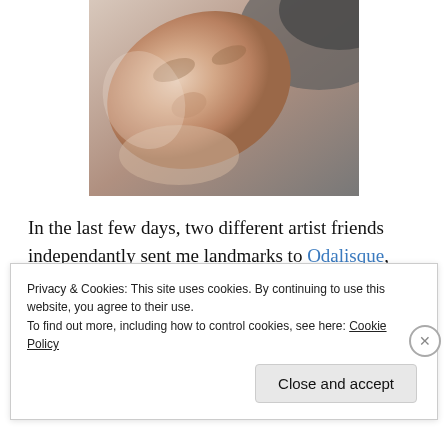[Figure (photo): A close-up selfie photo of a person's face, tilted sideways, with light skin tones and dark background in upper right corner.]
In the last few days, two different artist friends independantly sent me landmarks to Odalisque, with IMs of the “you HAVE TO see this” kind. And this is my
Privacy & Cookies: This site uses cookies. By continuing to use this website, you agree to their use.
To find out more, including how to control cookies, see here: Cookie Policy
Close and accept